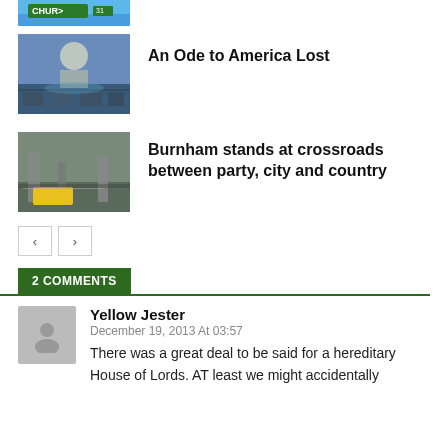[Figure (photo): Partial street sign photo cropped at top, green sign visible]
[Figure (photo): Crowd of protesters in front of US Capitol building]
An Ode to America Lost
[Figure (photo): City street scene with yellow tram and pedestrians]
Burnham stands at crossroads between party, city and country
< >
2 COMMENTS
Yellow Jester
December 19, 2013 At 03:57
There was a great deal to be said for a hereditary House of Lords. AT least we might accidentally